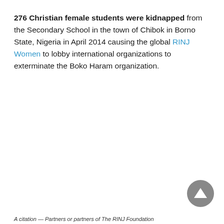276 Christian female students were kidnapped from the Secondary School in the town of Chibok in Borno State, Nigeria in April 2014 causing the global RINJ Women to lobby international organizations to exterminate the Boko Haram organization.
[Figure (other): Grey circular scroll-to-top button with upward-pointing triangle arrow]
A citation — Partners or partners of The RINJ Foundation